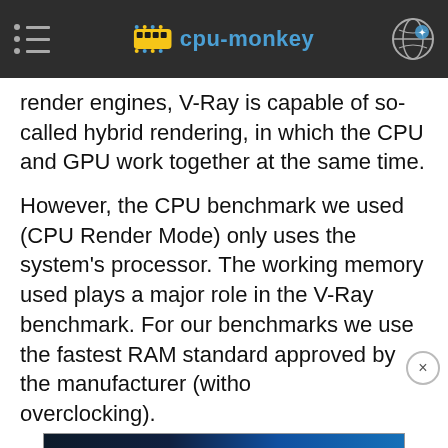cpu-monkey
render engines, V-Ray is capable of so-called hybrid rendering, in which the CPU and GPU work together at the same time.
However, the CPU benchmark we used (CPU Render Mode) only uses the system's processor. The working memory used plays a major role in the V-Ray benchmark. For our benchmarks we use the fastest RAM standard approved by the manufacturer (without overclocking).
[Figure (screenshot): Hulu Disney+ ESPN+ advertisement banner: GET THE DISNEY BUNDLE]
Due to the benchmark being using Autodesk 3ds Max, Maya, Cinema 4D, SketchUp,